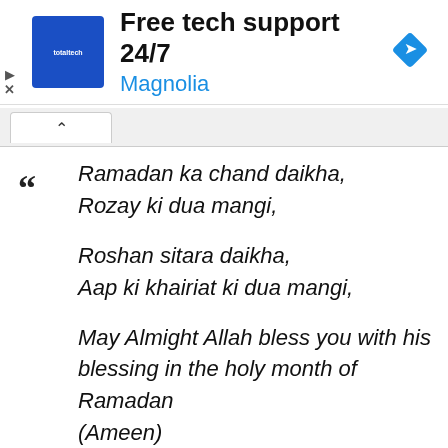[Figure (infographic): Advertisement banner: blue square logo with 'totaltech' text, heading 'Free tech support 24/7', subtitle 'Magnolia' in blue, and a blue diamond navigation icon on the right.]
Ramadan ka chand daikha,
Rozay ki dua mangi,

Roshan sitara daikha,
Aap ki khairiat ki dua mangi,

May Almight Allah bless you with his blessing in the holy month of Ramadan (Ameen)

One Ramadan will create Such A